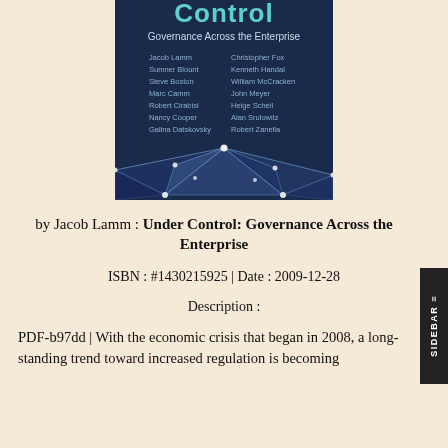[Figure (illustration): Book cover of 'Under Control: Governance Across the Enterprise' showing a dark navy blue background with geometric network/polygon graphic and author names listed in two columns.]
by Jacob Lamm : Under Control: Governance Across the Enterprise
ISBN : #1430215925 | Date : 2009-12-28
Description :
PDF-b97dd | With the economic crisis that began in 2008, a long-standing trend toward increased regulation is becoming